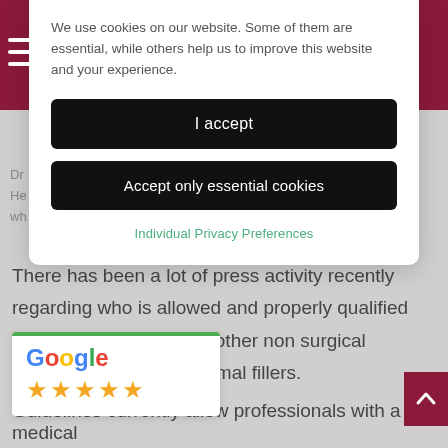We use cookies on our website. Some of them are essential, while others help us to improve this website and your experience.
I accept
Accept only essential cookies
Individual Privacy Preferences
Dr ...ngh who runs his ... from Stevedage... He ... who is allowed and properly qualified to wh... s allowed...
There has been a lot of press activity recently regarding who is allowed and properly qualified to administer botox and other non surgical procedures, such as dermal fillers.
[Figure (logo): Google logo with five orange stars (Google review widget with green top border)]
Guidelines currently allow professionals with a medical